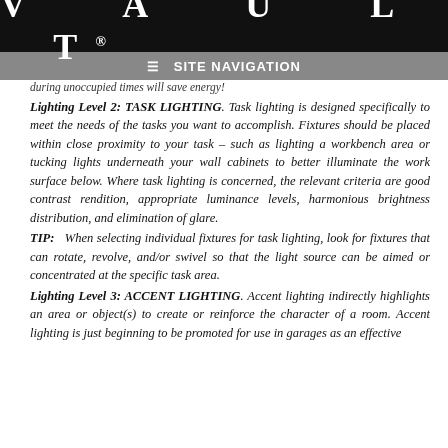VAULT®
≡ SITE NAVIGATION
during unoccupied times will save energy!
Lighting Level 2: TASK LIGHTING. Task lighting is designed specifically to meet the needs of the tasks you want to accomplish. Fixtures should be placed within close proximity to your task – such as lighting a workbench area or tucking lights underneath your wall cabinets to better illuminate the work surface below. Where task lighting is concerned, the relevant criteria are good contrast rendition, appropriate luminance levels, harmonious brightness distribution, and elimination of glare.
TIP: When selecting individual fixtures for task lighting, look for fixtures that can rotate, revolve, and/or swivel so that the light source can be aimed or concentrated at the specific task area.
Lighting Level 3: ACCENT LIGHTING. Accent lighting indirectly highlights an area or object(s) to create or reinforce the character of a room. Accent lighting is just beginning to be promoted for use in garages as an effective